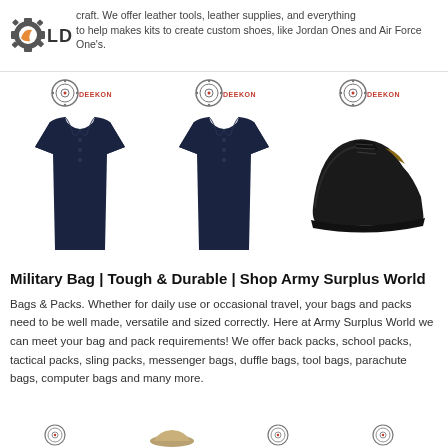LDM craft. We offer leather tools, leather supplies, and everything to help makes kits to create custom shoes, like Jordan Ones and Air Force One's.
[Figure (photo): Three product images in a row: two dark navy long-sleeve polo shirts with Deekon logo, and one black leather dress shoe with Deekon logo]
Military Bag | Tough & Durable | Shop Army Surplus World
Bags & Packs. Whether for daily use or occasional travel, your bags and packs need to be well made, versatile and sized correctly. Here at Army Surplus World we can meet your bag and pack requirements! We offer back packs, school packs, tactical packs, sling packs, messenger bags, duffle bags, tool bags, parachute bags, computer bags and many more.
[Figure (photo): Partial bottom row of product images with Deekon logos visible]